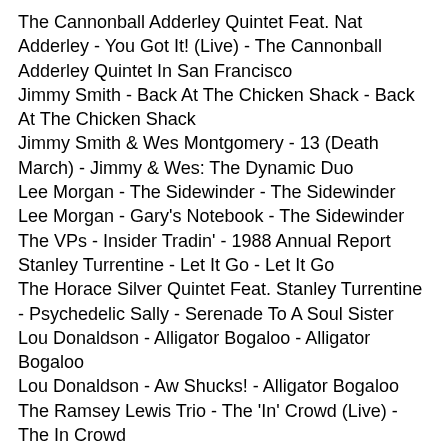The Cannonball Adderley Quintet Feat. Nat Adderley - You Got It! (Live) - The Cannonball Adderley Quintet In San Francisco
Jimmy Smith - Back At The Chicken Shack - Back At The Chicken Shack
Jimmy Smith & Wes Montgomery - 13 (Death March) - Jimmy & Wes: The Dynamic Duo
Lee Morgan - The Sidewinder - The Sidewinder
Lee Morgan - Gary's Notebook - The Sidewinder
The VPs - Insider Tradin' - 1988 Annual Report
Stanley Turrentine - Let It Go - Let It Go
The Horace Silver Quintet Feat. Stanley Turrentine - Psychedelic Sally - Serenade To A Soul Sister
Lou Donaldson - Alligator Bogaloo - Alligator Bogaloo
Lou Donaldson - Aw Shucks! - Alligator Bogaloo
The Ramsey Lewis Trio - The 'In' Crowd (Live) - The In Crowd
The George Benson Quartet - Ain't That Peculiar - Anthology
Lonnie Smith - Eleanor Rigby - Turning Point
Lonnie Smith - Slow High - Turning Point
Charles Earland - Here Comes Charlie - Black Talk!
Charles Earland - Black Talk - Black Talk!